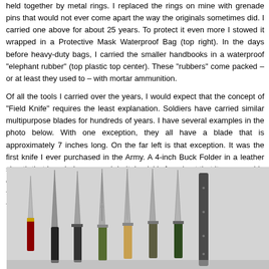held together by metal rings. I replaced the rings on mine with grenade pins that would not ever come apart the way the originals sometimes did. I carried one above for about 25 years. To protect it even more I stowed it wrapped in a Protective Mask Waterproof Bag (top right). In the days before heavy-duty bags, I carried the smaller handbooks in a waterproof "elephant rubber" (top plastic top center). These "rubbers" come packed – or at least they used to – with mortar ammunition.

Of all the tools I carried over the years, I would expect that the concept of "Field Knife" requires the least explanation. Soldiers have carried similar multipurpose blades for hundreds of years. I have several examples in the photo below. With one exception, they all have a blade that is approximately 7 inches long. On the far left is that exception. It was the first knife I ever purchased in the Army. A 4-inch Buck Folder in a leather sheath that I carried on my web belt. I quickly found out that it was capable of doing the things that I needed it to do in garrison, but was too small for field tasks like cutting camouflage on the M113 APC or clearing fields of fire for a machinegun.
[Figure (photo): A photograph showing a collection of military field knives arranged side by side, displaying various blade sizes and handle types. Most have blades approximately 7 inches long, with different handle styles including black, tan, and other colored grips.]